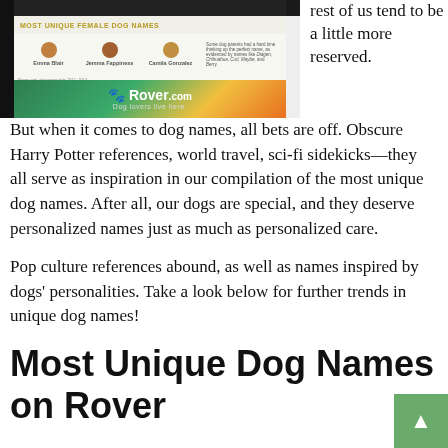[Figure (infographic): Infographic showing Most Unique Female Dog Names with circular dog breed icons and the Rover.com logo/banner at the bottom]
rest of us tend to be a little more reserved. But when it comes to dog names, all bets are off. Obscure Harry Potter references, world travel, sci-fi sidekicks—they all serve as inspiration in our compilation of the most unique dog names. After all, our dogs are special, and they deserve personalized names just as much as personalized care.
Pop culture references abound, as well as names inspired by dogs' personalities. Take a look below for further trends in unique dog names!
Most Unique Dog Names on Rover